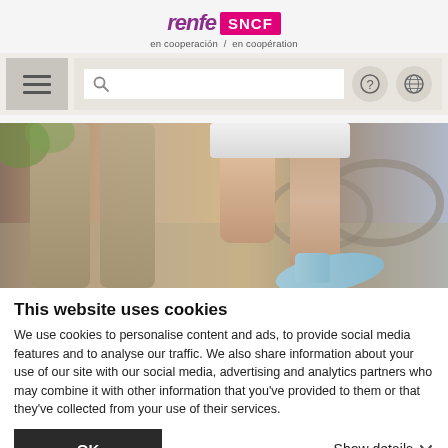[Figure (logo): Renfe SNCF en cooperación / en coopération logo]
[Figure (screenshot): Website navigation bar with hamburger menu, search box, help and language icons]
[Figure (photo): Close-up photo of person's legs walking outdoors near a bridge]
This website uses cookies
We use cookies to personalise content and ads, to provide social media features and to analyse our traffic. We also share information about your use of our site with our social media, advertising and analytics partners who may combine it with other information that you've provided to them or that they've collected from your use of their services.
OK
Show details